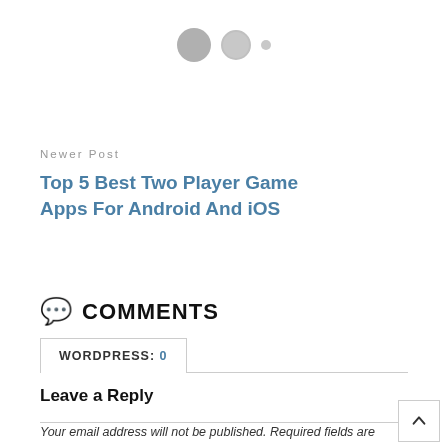[Figure (other): Three pagination dots: one large gray filled circle, one medium gray circle with border, one small gray dot]
Newer Post
Top 5 Best Two Player Game Apps For Android And iOS
💬 COMMENTS
WORDPRESS: 0
Leave a Reply
Your email address will not be published. Required fields are